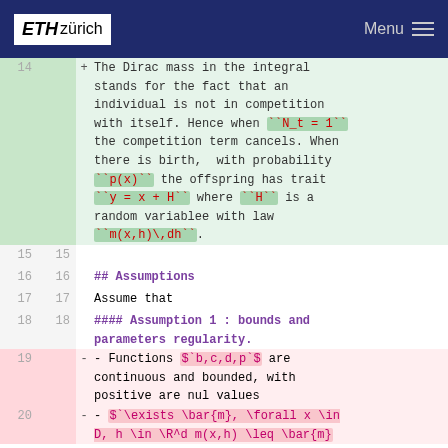ETH zürich  Menu
14 + The Dirac mass in the integral stands for the fact that an individual is not in competition with itself. Hence when ``N_t = 1`` the competition term cancels. When there is birth,  with probability ``p(x)`` the offspring has trait ``y = x + H`` where ``H`` is a random variablee with law ``m(x,h)\,dh``.
15  15
## Assumptions
Assume that
#### Assumption 1 : bounds and parameters regularity.
19 - - Functions $`b,c,d,p`$ are continuous and bounded, with positive are nul values
20 - - $`\exists \bar{m}, \forall x \in D, h \in \R^d m(x,h) \leq \bar{m}